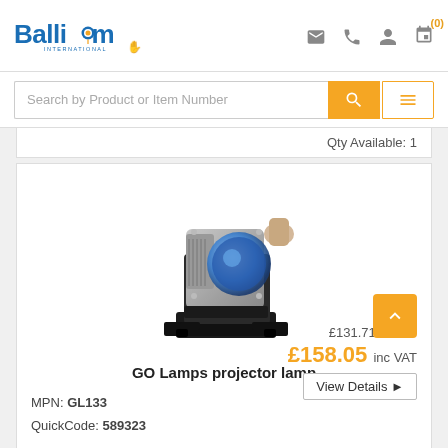[Figure (logo): Ballicom International logo in blue and orange]
Search by Product or Item Number
Qty Available: 1
[Figure (photo): GO Lamps projector lamp product photo]
GO Lamps projector lamp
MPN: GL133
QuickCode: 589323
£131.71 ex VAT
£158.05 inc VAT
View Details ▶